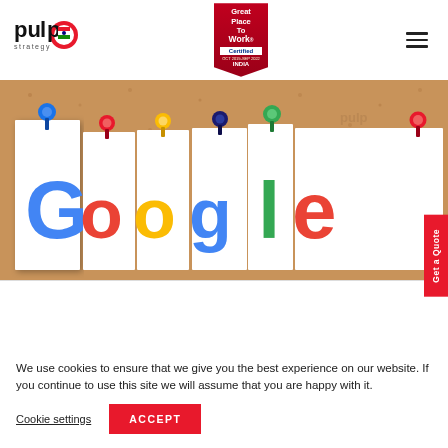[Figure (logo): Pulp Strategy company logo with red and black text]
[Figure (logo): Great Place To Work Certified badge, OCT 2019-SEP 2022 INDIA]
[Figure (illustration): Navigation hamburger menu icon (three horizontal lines)]
[Figure (photo): Cork board with Google letters on pinned white cards with colorful pushpins and pulp strategy watermark]
Get a Quote
We use cookies to ensure that we give you the best experience on our website. If you continue to use this site we will assume that you are happy with it.
Cookie settings
ACCEPT